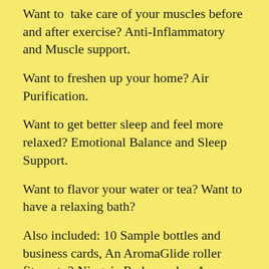Want to take care of your muscles before and after exercise? Anti-Inflammatory and Muscle support.
Want to freshen up your home? Air Purification.
Want to get better sleep and feel more relaxed? Emotional Balance and Sleep Support.
Want to flavor your water or tea? Want to have a relaxing bath?
Also included: 10 Sample bottles and business cards, An AromaGlide roller fitment, 2 Ningxia Red samples, A Thieves Household Cleaner sample, and other side mentioned below...